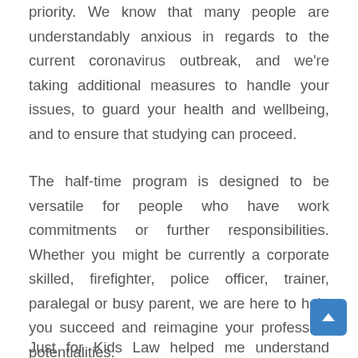priority. We know that many people are understandably anxious in regards to the current coronavirus outbreak, and we're taking additional measures to handle your issues, to guard your health and wellbeing, and to ensure that studying can proceed.
The half-time program is designed to be versatile for people who have work commitments or further responsibilities. Whether you might be currently a corporate skilled, firefighter, police officer, trainer, paralegal or busy parent, we are here to help you succeed and reimagine your profession potentialities.
Just for Kids Law helped me understand that's not completely true and that I do have rights and I can use my rights. We exist to help children and young individuals overcome all the difficulties they face, from problems at college and issues with immigration status to bother with